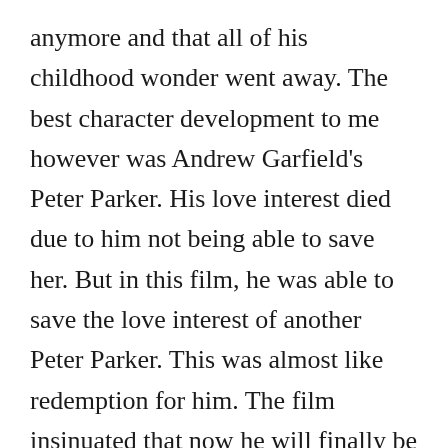anymore and that all of his childhood wonder went away. The best character development to me however was Andrew Garfield's Peter Parker. His love interest died due to him not being able to save her. But in this film, he was able to save the love interest of another Peter Parker. This was almost like redemption for him. The film insinuated that now he will finally be able to live with himself and continue on with his life.

Finally, I can definitely say that the plot was beyond creative and enjoyable. Bringing back everyone's favorite Spider-mans for one movie was ingenious and so fun to watch. The storyline